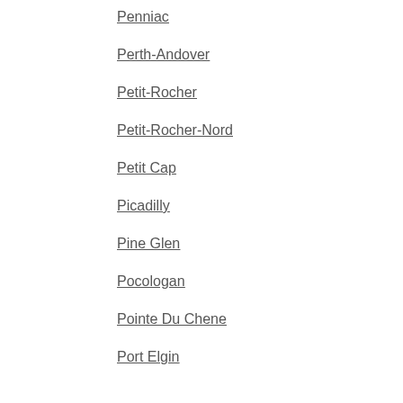Penniac
Perth-Andover
Petit-Rocher
Petit-Rocher-Nord
Petit Cap
Picadilly
Pine Glen
Pocologan
Pointe Du Chene
Port Elgin
Q
Quispamsis
R
Renous
Rexton
Richibucto